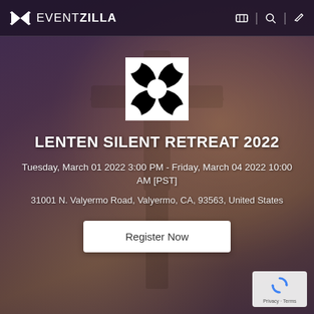EVENTZILLA
[Figure (logo): EventZilla logo square icon with hourglass/bowtie pattern in black on white background]
LENTEN SILENT RETREAT 2022
Tuesday, March 01 2022 3:00 PM - Friday, March 04 2022 10:00 AM [PST]
31001 N. Valyermo Road, Valyermo, CA, 93563, United States
Register Now
[Figure (logo): Google reCAPTCHA badge with rotating arrows icon and Privacy Terms text]